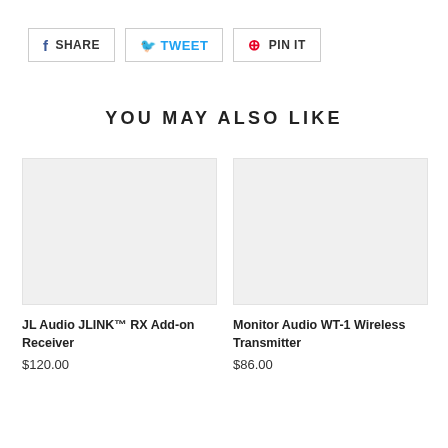[Figure (other): Social share buttons row: Facebook SHARE, Twitter TWEET, Pinterest PIN IT]
YOU MAY ALSO LIKE
[Figure (photo): Product image placeholder for JL Audio JLINK RX Add-on Receiver]
JL Audio JLINK™ RX Add-on Receiver
$120.00
[Figure (photo): Product image placeholder for Monitor Audio WT-1 Wireless Transmitter]
Monitor Audio WT-1 Wireless Transmitter
$86.00